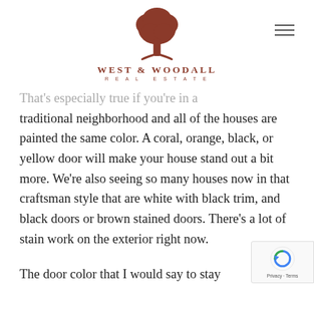[Figure (logo): West & Woodall Real Estate logo with a red oak tree icon above the text 'WEST & WOODALL' in red serif lettering and 'REAL ESTATE' in smaller spaced red letters below]
That's especially true if you're in a traditional neighborhood and all of the houses are painted the same color. A coral, orange, black, or yellow door will make your house stand out a bit more. We're also seeing so many houses now in that craftsman style that are white with black trim, and black doors or brown stained doors. There's a lot of stain work on the exterior right now.
The door color that I would say to stay